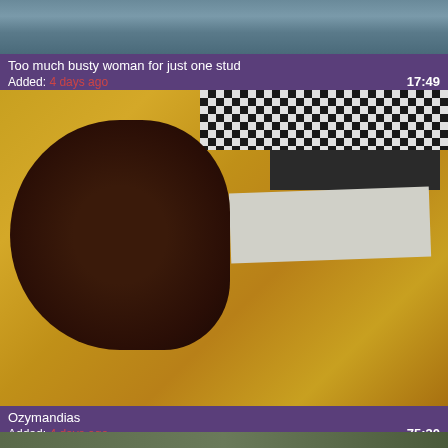[Figure (screenshot): Video thumbnail showing partial view of an outdoor scene]
Too much busty woman for just one stud
Added: 4 days ago	17:49
[Figure (screenshot): Video thumbnail showing two people against a yellow wall, woman with dark hair in a plaid shirt]
Ozymandias
Added: 4 days ago	75:30
[Figure (screenshot): Partial video thumbnail at bottom of page]